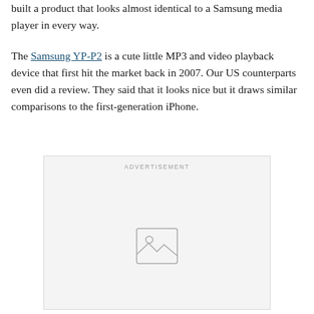built a product that looks almost identical to a Samsung media player in every way.
The Samsung YP-P2 is a cute little MP3 and video playback device that first hit the market back in 2007. Our US counterparts even did a review. They said that it looks nice but it draws similar comparisons to the first-generation iPhone.
[Figure (other): Advertisement placeholder box with image icon]